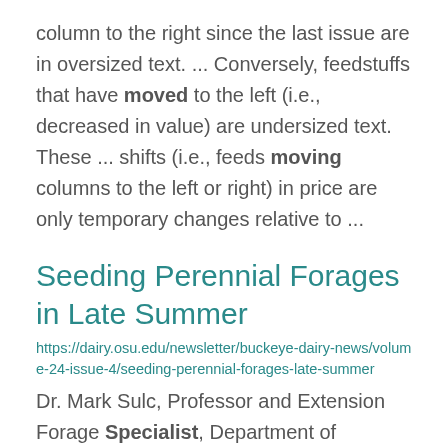column to the right since the last issue are in oversized text. ... Conversely, feedstuffs that have moved to the left (i.e., decreased in value) are undersized text. These ... shifts (i.e., feeds moving columns to the left or right) in price are only temporary changes relative to ...
Seeding Perennial Forages in Late Summer
https://dairy.osu.edu/newsletter/buckeye-dairy-news/volume-24-issue-4/seeding-perennial-forages-late-summer
Dr. Mark Sulc, Professor and Extension Forage Specialist, Department of